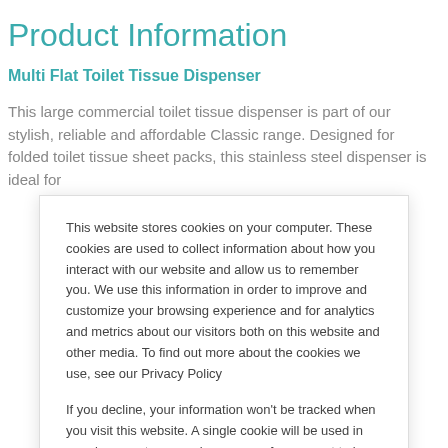Product Information
Multi Flat Toilet Tissue Dispenser
This large commercial toilet tissue dispenser is part of our stylish, reliable and affordable Classic range. Designed for folded toilet tissue sheet packs, this stainless steel dispenser is ideal for
This website stores cookies on your computer. These cookies are used to collect information about how you interact with our website and allow us to remember you. We use this information in order to improve and customize your browsing experience and for analytics and metrics about our visitors both on this website and other media. To find out more about the cookies we use, see our Privacy Policy
If you decline, your information won't be tracked when you visit this website. A single cookie will be used in your browser to remember your preference not to be tracked.
Cookies settings   Accept All   Decline All